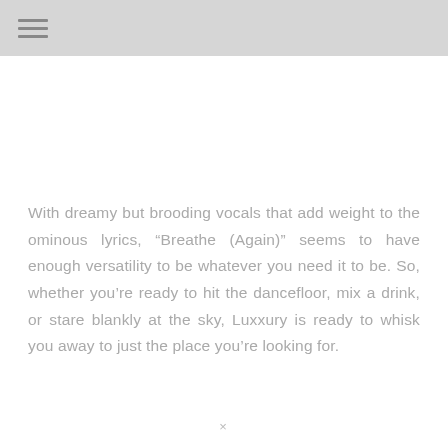☰
With dreamy but brooding vocals that add weight to the ominous lyrics, “Breathe (Again)” seems to have enough versatility to be whatever you need it to be. So, whether you’re ready to hit the dancefloor, mix a drink, or stare blankly at the sky, Luxxury is ready to whisk you away to just the place you’re looking for.